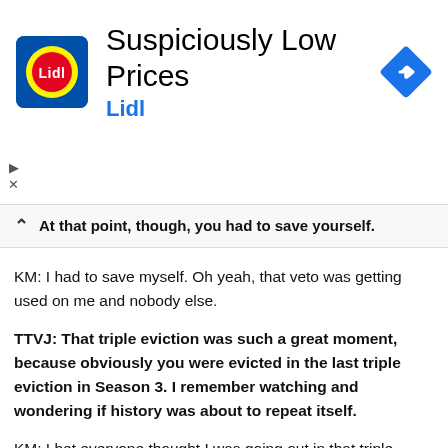[Figure (other): Lidl advertisement banner with Lidl logo, text 'Suspiciously Low Prices' and 'Lidl', and a navigation arrow icon]
At that point, though, you had to save yourself.
KM: I had to save myself. Oh yeah, that veto was getting used on me and nobody else.
TTVJ: That triple eviction was such a great moment, because obviously you were evicted in the last triple eviction in Season 3. I remember watching and wondering if history was about to repeat itself.
KM: I bet everyone thought I was going out in that triple because I couldn't compete in the HoH. To put those blocks in and hit that buzzer to save myself from the exact fate that did me in last time? It was chilling. It was one of my favorite moments.
TTVJ: It has been a great story this season watching you go from walking in, wanting to redeem yourself, to actually